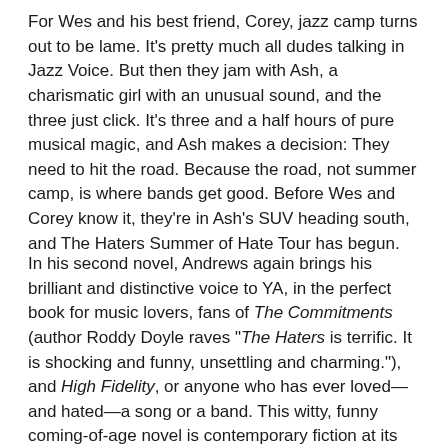For Wes and his best friend, Corey, jazz camp turns out to be lame. It's pretty much all dudes talking in Jazz Voice. But then they jam with Ash, a charismatic girl with an unusual sound, and the three just click. It's three and a half hours of pure musical magic, and Ash makes a decision: They need to hit the road. Because the road, not summer camp, is where bands get good. Before Wes and Corey know it, they're in Ash's SUV heading south, and The Haters Summer of Hate Tour has begun.
In his second novel, Andrews again brings his brilliant and distinctive voice to YA, in the perfect book for music lovers, fans of The Commitments (author Roddy Doyle raves "The Haters is terrific. It is shocking and funny, unsettling and charming."), and High Fidelity, or anyone who has ever loved—and hated—a song or a band. This witty, funny coming-of-age novel is contemporary fiction at its best.